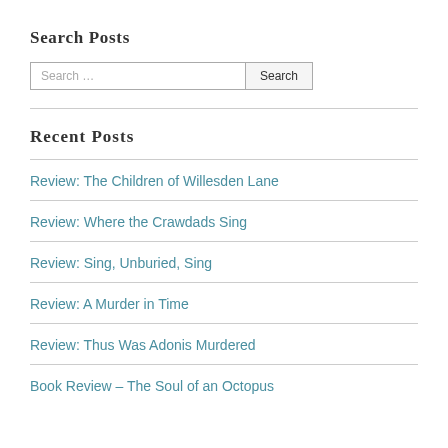Search Posts
Search … [Search button]
Recent Posts
Review: The Children of Willesden Lane
Review: Where the Crawdads Sing
Review: Sing, Unburied, Sing
Review: A Murder in Time
Review: Thus Was Adonis Murdered
Book Review – The Soul of an Octopus